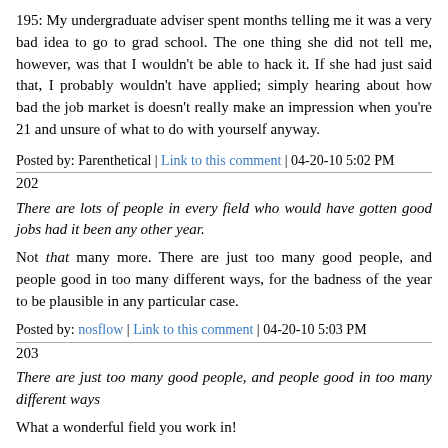195: My undergraduate adviser spent months telling me it was a very bad idea to go to grad school. The one thing she did not tell me, however, was that I wouldn't be able to hack it. If she had just said that, I probably wouldn't have applied; simply hearing about how bad the job market is doesn't really make an impression when you're 21 and unsure of what to do with yourself anyway.
Posted by: Parenthetical | Link to this comment | 04-20-10 5:02 PM
202
There are lots of people in every field who would have gotten good jobs had it been any other year.
Not that many more. There are just too many good people, and people good in too many different ways, for the badness of the year to be plausible in any particular case.
Posted by: nosflow | Link to this comment | 04-20-10 5:03 PM
203
There are just too many good people, and people good in too many different ways
What a wonderful field you work in!